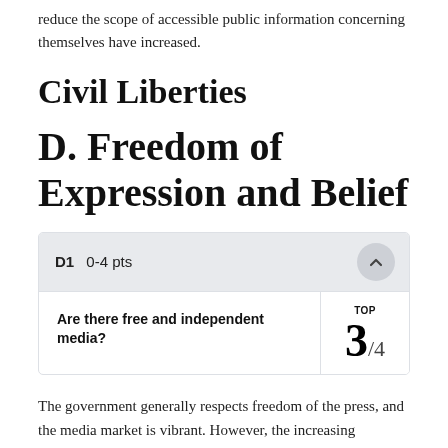reduce the scope of accessible public information concerning themselves have increased.
Civil Liberties
D. Freedom of Expression and Belief
| D1  0-4 pts |  |
| --- | --- |
| Are there free and independent media? | TOP 3/4 |
The government generally respects freedom of the press, and the media market is vibrant. However, the increasing